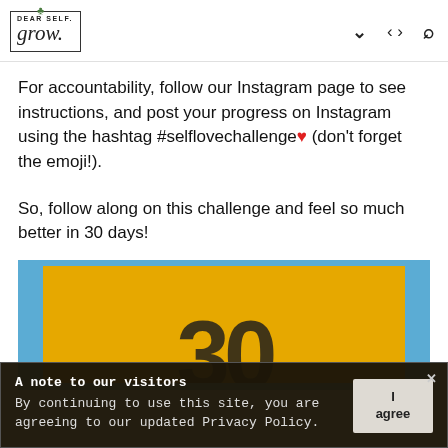[Figure (logo): Dear Self. Grow. logo with plant icon and rectangular border]
For accountability, follow our Instagram page to see instructions, and post your progress on Instagram using the hashtag #selflovechallenge❤ (don't forget the emoji!).
So, follow along on this challenge and feel so much better in 30 days!
[Figure (photo): Image with blue background and yellow rectangle showing large '30' numeral in dark color]
A note to our visitors
By continuing to use this site, you are agreeing to our updated Privacy Policy.